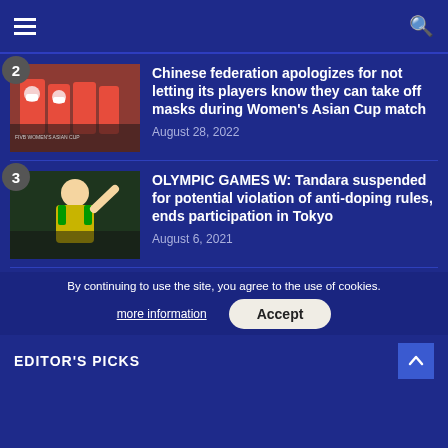Navigation bar with hamburger menu and search icon
[Figure (photo): Chinese women's volleyball team players wearing masks during a match]
Chinese federation apologizes for not letting its players know they can take off masks during Women's Asian Cup match
August 28, 2022
[Figure (photo): Volleyball player Tandara in a yellow and green Brazil jersey at the Olympics in Tokyo]
OLYMPIC GAMES W: Tandara suspended for potential violation of anti-doping rules, ends participation in Tokyo
August 6, 2021
By continuing to use the site, you agree to the use of cookies.
more information
Accept
EDITOR'S PICKS